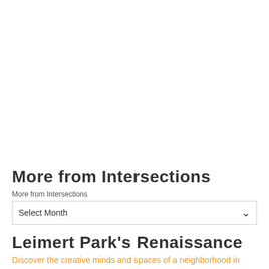More from Intersections
More from Intersections
Select Month
Leimert Park's Renaissance
Discover the creative minds and spaces of a neighborhood in